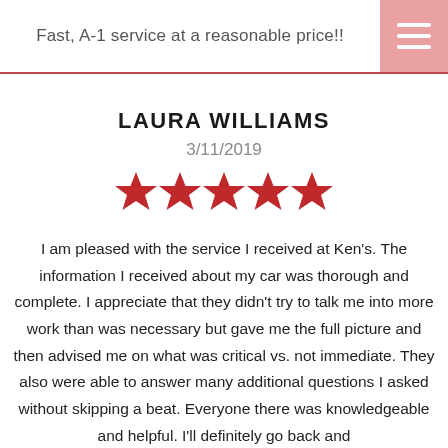Fast, A-1 service at a reasonable price!!
LAURA WILLIAMS
3/11/2019
[Figure (other): Five red star rating icons]
I am pleased with the service I received at Ken's. The information I received about my car was thorough and complete. I appreciate that they didn't try to talk me into more work than was necessary but gave me the full picture and then advised me on what was critical vs. not immediate. They also were able to answer many additional questions I asked without skipping a beat. Everyone there was knowledgeable and helpful. I'll definitely go back and